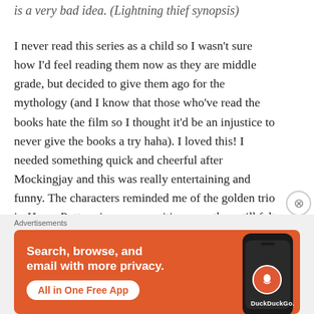is a very bad idea. (Lightning thief synopsis)
I never read this series as a child so I wasn't sure how I'd feel reading them now as they are middle grade, but decided to give them ago for the mythology (and I know that those who've read the books hate the film so I thought it'd be an injustice to never give the books a try haha). I loved this! I needed something quick and cheerful after Mockingjay and this was really entertaining and funny. The characters reminded me of the golden trio in Harry Potter– in a very positive way, they still felt original, and I loved the nostalgic feeling
Advertisements
[Figure (screenshot): DuckDuckGo advertisement banner with orange background. Text reads: Search, browse, and email with more privacy. All in One Free App. Shows a phone with DuckDuckGo logo.]